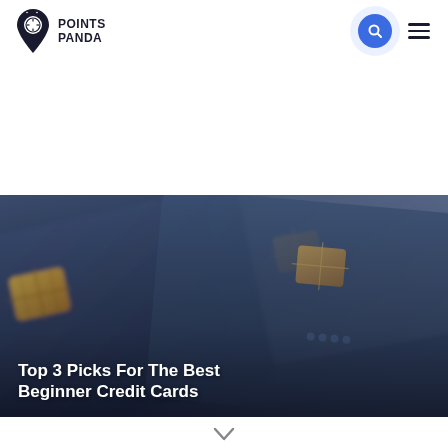[Figure (logo): Points Panda logo with panda-themed location pin icon and text POINTS PANDA]
Top 3 Picks For The Best Beginner Credit Cards
[Figure (photo): Close-up blurred photo of multiple navy blue credit cards fanned out, showing chip details]